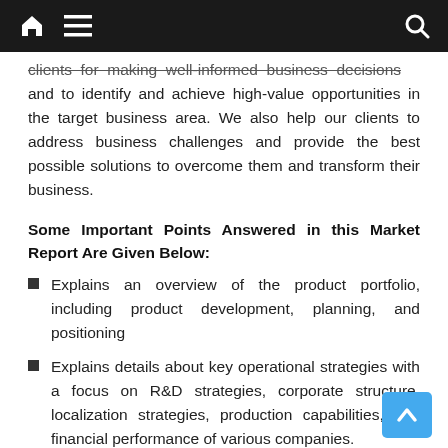[Navigation bar with home, menu, and search icons]
clients for making well-informed business decisions and to identify and achieve high-value opportunities in the target business area. We also help our clients to address business challenges and provide the best possible solutions to overcome them and transform their business.
Some Important Points Answered in this Market Report Are Given Below:
Explains an overview of the product portfolio, including product development, planning, and positioning
Explains details about key operational strategies with a focus on R&D strategies, corporate structure, localization strategies, production capabilities, and financial performance of various companies.
Detailed analysis of the market revenue over